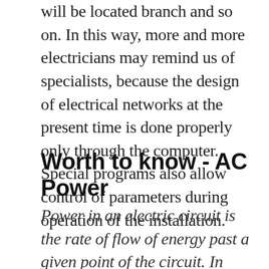will be located branch and so on. In this way, more and more electricians may remind us of specialists, because the design of electrical networks at the present time is done properly only through the computer. Special programs also allow control of parameters during operation of the installation.
Worth to know - AC Power
Power in an electric circuit is the rate of flow of energy past a given point of the circuit. In alternating current circuits,